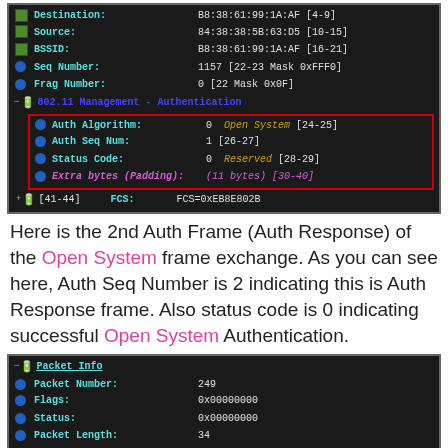[Figure (screenshot): Wireshark packet capture showing 802.11 Management Authentication frame fields including Destination, Source, BSSID, Seq Number, Frag Number, Auth Algorithm (Open System), Auth Seq Num, Status Code, Extra bytes (Padding), and FCS. Auth fields highlighted in red box.]
Here is the 2nd Auth Frame (Auth Response) of the Open System frame exchange. As you can see here, Auth Seq Number is 2 indicating this is Auth Response frame. Also status code is 0 indicating successful Open System Authentication.
[Figure (screenshot): Wireshark packet capture showing Packet Info section with fields: Packet Number: 249, Flags: 0x00000000, Status: 0x00000000, Packet Length: 34, Timestamp: 14:34:51.189952100 10/05/2014, Data Rate: 48 24.0 Mbps, Channel: 149 5745MHz 802.11a]